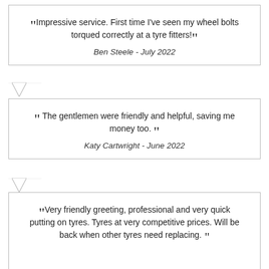“Impressive service. First time I’ve seen my wheel bolts torqued correctly at a tyre fitters!”

Ben Steele - July 2022
“The gentlemen were friendly and helpful, saving me money too.”

Katy Cartwright - June 2022
“Very friendly greeting, professional and very quick putting on tyres. Tyres at very competitive prices. Will be back when other tyres need replacing.”